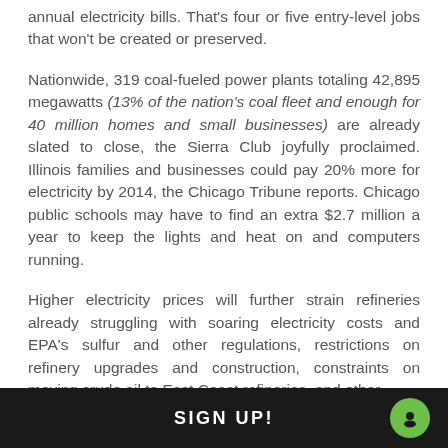annual electricity bills. That's four or five entry-level jobs that won't be created or preserved.
Nationwide, 319 coal-fueled power plants totaling 42,895 megawatts (13% of the nation's coal fleet and enough for 40 million homes and small businesses) are already slated to close, the Sierra Club joyfully proclaimed. Illinois families and businesses could pay 20% more for electricity by 2014, the Chicago Tribune reports. Chicago public schools may have to find an extra $2.7 million a year to keep the lights and heat on and computers running.
Higher electricity prices will further strain refineries already struggling with soaring electricity costs and EPA's sulfur and other regulations, restrictions on refinery upgrades and construction, constraints on moving crude oil to East Coast refineries, and other
SIGN UP!